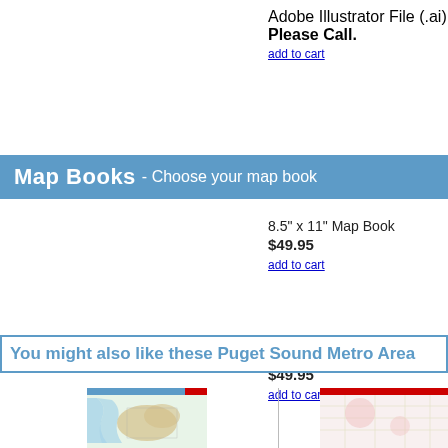Adobe Illustrator File (.ai)
Please Call.
add to cart
Map Books - Choose your map book
8.5" x 11" Map Book
$49.95
add to cart
11" x 17" Map Book
$49.95
add to cart
You might also like these Puget Sound Metro Area
[Figure (map): Thumbnail map of Puget Sound Metro Area (left), blue/green/tan map with red header bar]
[Figure (map): Thumbnail map of Puget Sound Metro Area (right), light pink/white map with red header bar]